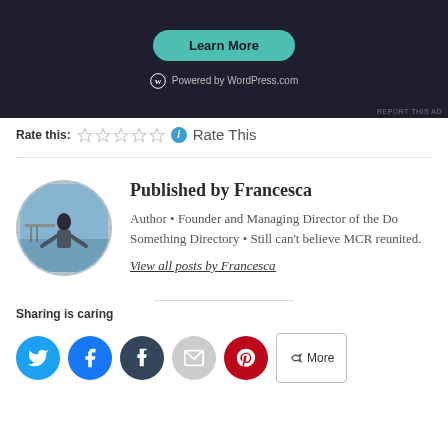[Figure (screenshot): Dark-background WordPress ad widget with a teal 'Learn More' button and 'Powered by WordPress.com' footer text]
REPORT THIS AD
Rate this: ☆☆☆☆☆ ℹ Rate This
Published by Francesca
Author • Founder and Managing Director of the Do Something Directory • Still can't believe MCR reunited.
View all posts by Francesca
Sharing is caring
[Figure (illustration): Social sharing buttons: Twitter, Facebook, Tumblr, Email, Pinterest, More]